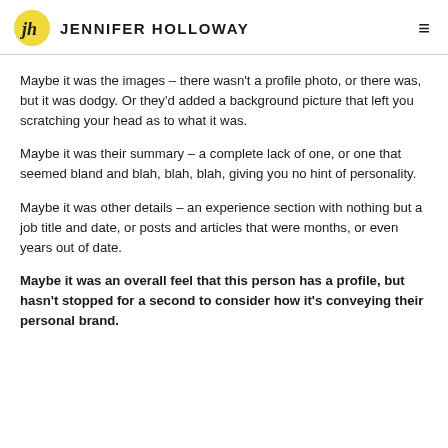JENNIFER HOLLOWAY
Maybe it was the images – there wasn't a profile photo, or there was, but it was dodgy. Or they'd added a background picture that left you scratching your head as to what it was.
Maybe it was their summary – a complete lack of one, or one that seemed bland and blah, blah, blah, giving you no hint of personality.
Maybe it was other details – an experience section with nothing but a job title and date, or posts and articles that were months, or even years out of date.
Maybe it was an overall feel that this person has a profile, but hasn't stopped for a second to consider how it's conveying their personal brand.